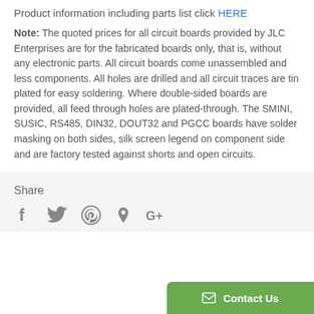Product information including parts list click HERE
Note: The quoted prices for all circuit boards provided by JLC Enterprises are for the fabricated boards only, that is, without any electronic parts. All circuit boards come unassembled and less components. All holes are drilled and all circuit traces are tin plated for easy soldering. Where double-sided boards are provided, all feed through holes are plated-through. The SMINI, SUSIC, RS485, DIN32, DOUT32 and PGCC boards have solder masking on both sides, silk screen legend on component side and are factory tested against shorts and open circuits.
Share
[Figure (infographic): Social media share icons: Facebook, Twitter, Pinterest, Fancy, Google+]
Contact Us